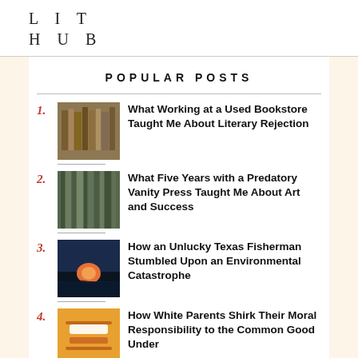LIT HUB
POPULAR POSTS
1. What Working at a Used Bookstore Taught Me About Literary Rejection
2. What Five Years with a Predatory Vanity Press Taught Me About Art and Success
3. How an Unlucky Texas Fisherman Stumbled Upon an Environmental Catastrophe
4. How White Parents Shirk Their Moral Responsibility to the Common Good Under